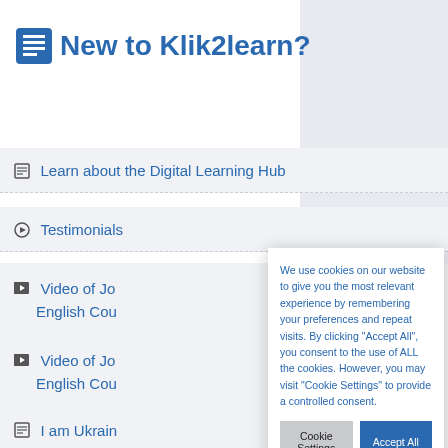New to Klik2learn?
Learn about the Digital Learning Hub
Testimonials
Video of Jo... English Cou...
Video of Jo... English Cou...
I am Ukrain... course?
We use cookies on our website to give you the most relevant experience by remembering your preferences and repeat visits. By clicking "Accept All", you consent to the use of ALL the cookies. However, you may visit "Cookie Settings" to provide a controlled consent.
Cookie Settings
Accept All